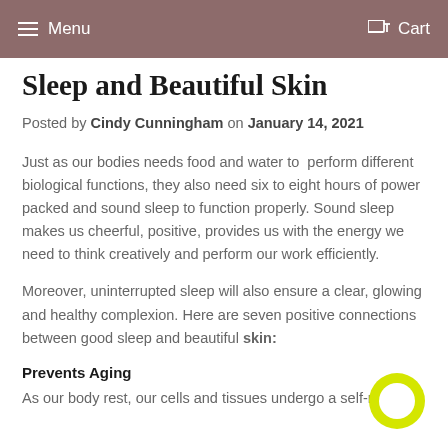Menu  Cart
Sleep and Beautiful Skin
Posted by Cindy Cunningham on January 14, 2021
Just as our bodies needs food and water to perform different biological functions, they also need six to eight hours of power packed and sound sleep to function properly. Sound sleep makes us cheerful, positive, provides us with the energy we need to think creatively and perform our work efficiently.
Moreover, uninterrupted sleep will also ensure a clear, glowing and healthy complexion. Here are seven positive connections between good sleep and beautiful skin:
Prevents Aging
As our body rest, our cells and tissues undergo a self-renewal